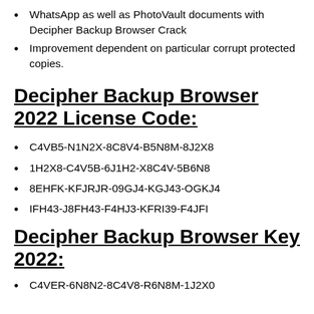WhatsApp as well as PhotoVault documents with Decipher Backup Browser Crack
Improvement dependent on particular corrupt protected copies.
Decipher Backup Browser 2022 License Code:
C4VB5-N1N2X-8C8V4-B5N8M-8J2X8
1H2X8-C4V5B-6J1H2-X8C4V-5B6N8
8EHFK-KFJRJR-09GJ4-KGJ43-OGKJ4
IFH43-J8FH43-F4HJ3-KFRI39-F4JFI
Decipher Backup Browser Key 2022:
C4VER-6N8N2-8C4V8-R6N8M-1J2X0